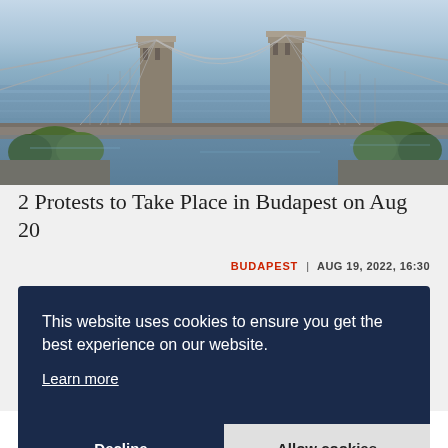[Figure (photo): Aerial view of a chain bridge over the Danube river in Budapest, with suspension towers, water, and green trees visible]
2 Protests to Take Place in Budapest on Aug 20
BUDAPEST | AUG 19, 2022, 16:30
This website uses cookies to ensure you get the best experience on our website.
Learn more
Decline
Allow cookies
information that you can trust, that is factual